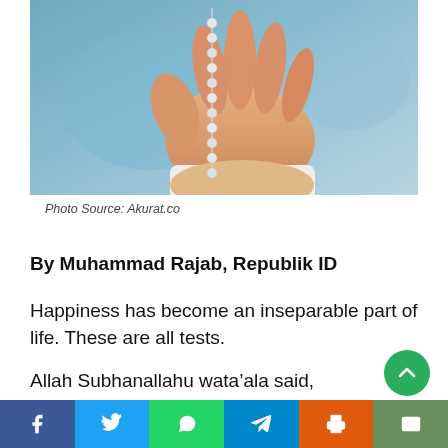[Figure (photo): A hand holding prayer beads (rosary/tasbih) against a blurred blue background, wearing a white garment.]
Photo Source: Akurat.co
By Muhammad Rajab, Republik ID
Happiness has become an inseparable part of life. These are all tests.
Allah Subhanallahu wata’ala said, “And indeed We will give you a trial with a little fear, hunger, lack of wealth, soul, and…